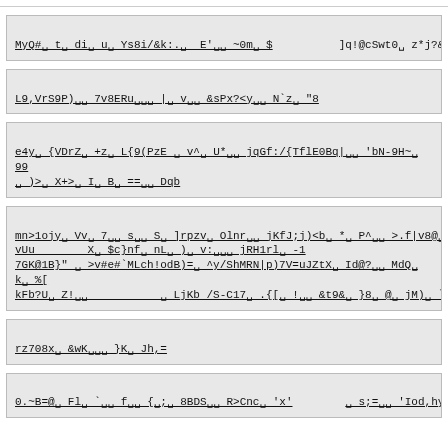MyQ#□ t□ di□ u□ Ys8i/&k:.□  E'□□ ~0m□ $          ]q!@cSwt0□ z*j?&
L9,VrS9P)□□ 7v8ERu□□□ |□ v□□ &sPx?<y□□ N`z□ "8
e4y□ {VDrZ□ +z□ L{9(PzE □ v^□ U*□□ jqGf:/{TflE0Bq|□□ 'bN-9H~□ 99
□ )>□ X+>□ I□ B□ ==□□ Dqb
mn>1ojy□ Vv□ 7□□ s□□ S□ ]rpzv□ Olnr□□ jKfJ;j)<b□ *□ P^□□ >.f|v8@□
vUu        X□ $c}nf□ nL□ )□ v:□□□ jRH1rl□ -1
7GK@1B}" □ >v#e#`MLch!odB)=□ ^y/ShMRN|p)7V=uJZtX□ Id@?□□ MdQ□
k□ %[
kFb?U□ Z!□□           □ LjKb /S-C17□ .{[□ !□□ &t9&□ }8□ @□ jM)□ `m□ Ce□
rz708x□ &wK□□□ }K□ Jh,=
0.~B=@□ Fl□ `□□ f□□ {□;□ 8BDS□□ R>Cnc□ 'x'        □ s;=□□ 'Iod,hy□ r□